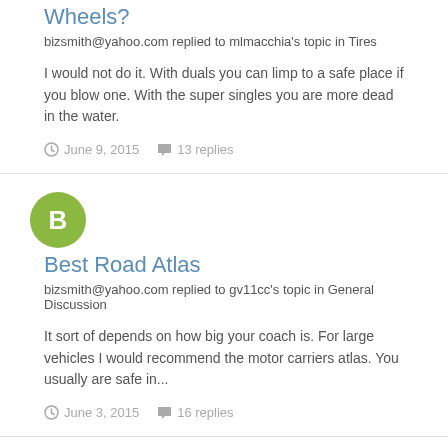Wheels?
bizsmith@yahoo.com replied to mlmacchia's topic in Tires
I would not do it. With duals you can limp to a safe place if you blow one. With the super singles you are more dead in the water.
June 9, 2015   13 replies
[Figure (other): Green circular avatar with letter B]
Best Road Atlas
bizsmith@yahoo.com replied to gv11cc's topic in General Discussion
It sort of depends on how big your coach is. For large vehicles I would recommend the motor carriers atlas. You usually are safe in...
June 3, 2015   16 replies
[Figure (other): Green circular avatar with letter B]
Removing A Washer/dryer Combo